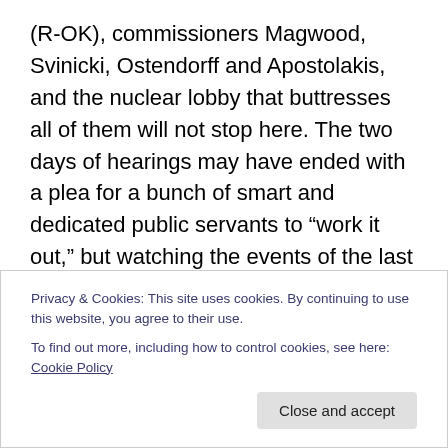(R-OK), commissioners Magwood, Svinicki, Ostendorff and Apostolakis, and the nuclear lobby that buttresses all of them will not stop here. The two days of hearings may have ended with a plea for a bunch of smart and dedicated public servants to “work it out,” but watching the events of the last week (and reading the emails included in Markey’s report) make it clear this is not just a war on Jaczko, this is a war on regulation. It may look on the surface like so much bread and circuses, but big nuclear’s henchmen are prepared to feed Christians to the lions all day long. Pro-nuclear forces will accept nothing short of an
Privacy & Cookies: This site uses cookies. By continuing to use this website, you agree to their use.
To find out more, including how to control cookies, see here: Cookie Policy